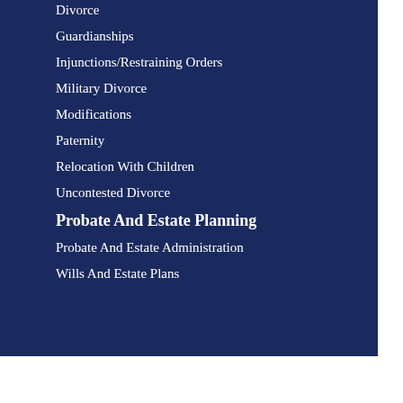Divorce
Guardianships
Injunctions/Restraining Orders
Military Divorce
Modifications
Paternity
Relocation With Children
Uncontested Divorce
Probate And Estate Planning
Probate And Estate Administration
Wills And Estate Plans